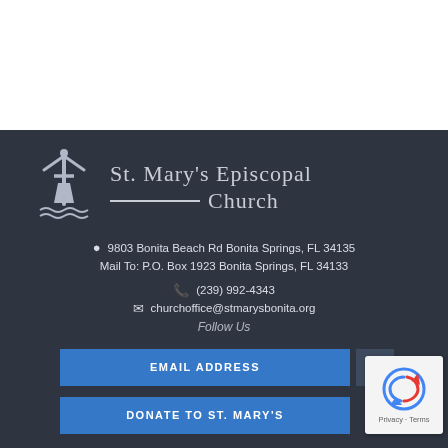[Figure (logo): St. Mary's Episcopal Church logo with cross figure and waves, alongside church name text]
📍 9803 Bonita Beach Rd Bonita Springs, FL 34135
Mail To: P.O. Box 1923 Bonita Springs, FL 34133
📞 (239) 992-4343
✉ churchoffice@stmarysbonita.org
Follow Us
EMAIL ADDRESS
DONATE TO ST. MARY'S